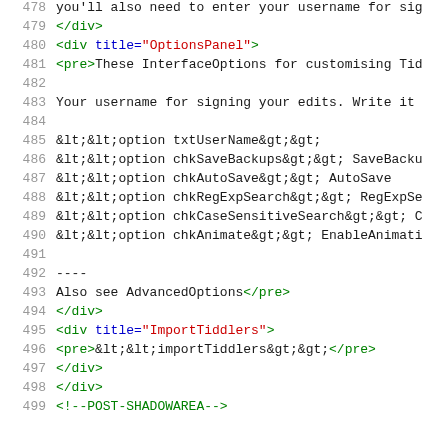478  you'll also need to enter your username for sig
479  </div>
480  <div title="OptionsPanel">
481  <pre>These InterfaceOptions for customising Tid
482  (empty)
483  Your username for signing your edits. Write it
484  (empty)
485  <<option txtUserName>>;
486  <<option chkSaveBackups>>; SaveBacku
487  <<option chkAutoSave>>; AutoSave
488  <<option chkRegExpSearch>>; RegExpSe
489  <<option chkCaseSensitiveSearch>>; C
490  <<option chkAnimate>>; EnableAnimati
491  (empty)
492  ----
493  Also see AdvancedOptions</pre>
494  </div>
495  <div title="ImportTiddlers">
496  <pre><<importTiddlers>></pre>
497  </div>
498  </div>
499  <!--POST-SHADOWAREA-->